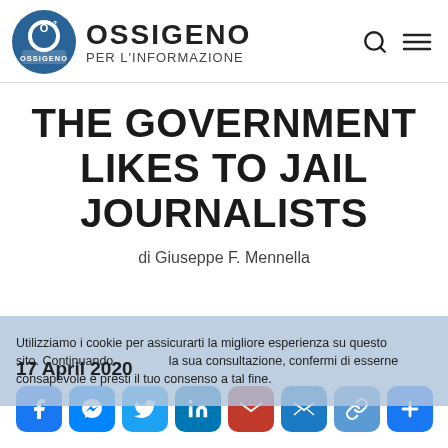OSSIGENO PER L'INFORMAZIONE
THE GOVERNMENT LIKES TO JAIL JOURNALISTS
di Giuseppe F. Mennella
Utilizziamo i cookie per assicurarti la migliore esperienza su questo sito. Continuando la sua consultazione, confermi di esserne consapevole e presti il tuo consenso a tal fine.
17 April 2020
[Figure (other): Social sharing buttons row: Facebook, Messenger, Twitter, LinkedIn, Gmail, Email, Link, More]